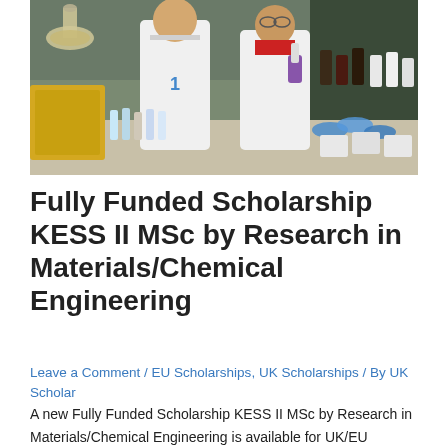[Figure (photo): Two researchers in white lab coats standing in a laboratory surrounded by flasks, vials, and scientific equipment on benches. One researcher holds a small vial with purple-gloved hands.]
Fully Funded Scholarship KESS II MSc by Research in Materials/Chemical Engineering
Leave a Comment / EU Scholarships, UK Scholarships / By UK Scholar
A new Fully Funded Scholarship KESS II MSc by Research in Materials/Chemical Engineering is available for UK/EU students at Swansea University. This programme is funded by the Welsh